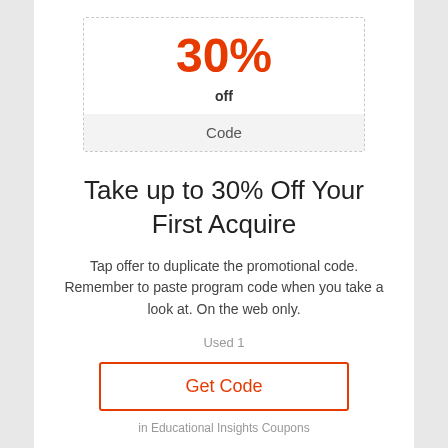[Figure (infographic): Coupon box with dashed border showing '30%' in red, 'off' in bold black, and a 'Code' label in a grey box below]
Take up to 30% Off Your First Acquire
Tap offer to duplicate the promotional code. Remember to paste program code when you take a look at. On the web only.
Used 1
Get Code
in Educational Insights Coupons